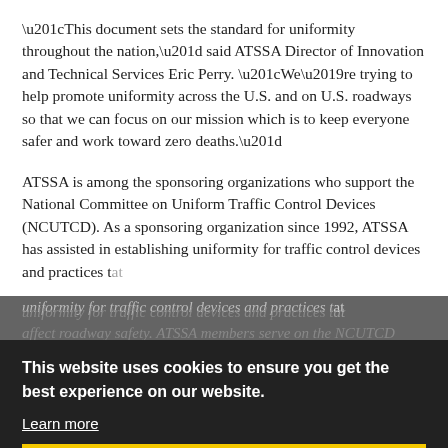“This document sets the standard for uniformity throughout the nation,” said ATSSA Director of Innovation and Technical Services Eric Perry. “We’re trying to help promote uniformity across the U.S. and on U.S. roadways so that we can focus on our mission which is to keep everyone safer and work toward zero deaths.”
ATSSA is among the sponsoring organizations who support the National Committee on Uniform Traffic Control Devices (NCUTCD). As a sponsoring organization since 1992, ATSSA has assisted in establishing uniformity for traffic control devices and practices that affect roadway safety. ATSSA members serve on the NCUTCD Temporary Traffic Control Committee. Perry, ATSSA Vice President of Member Services Donna Clark, ATSSA CEO and President Roger Wentz, and ATSSA Associate Directors of Member Engagement Courtney Nelson and Israel James attend FHWA meetings to cover the majority of the technical committees.
Since 1993, NCUTCD has...